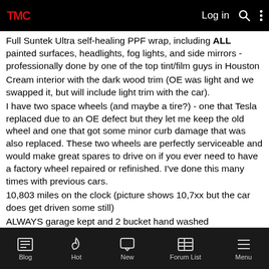TMC Log in [search] [menu]
Full Suntek Ultra self-healing PPF wrap, including ALL painted surfaces, headlights, fog lights, and side mirrors - professionally done by one of the top tint/film guys in Houston
Cream interior with the dark wood trim (OE was light and we swapped it, but will include light trim with the car).
I have two space wheels (and maybe a tire?) - one that Tesla replaced due to an OE defect but they let me keep the old wheel and one that got some minor curb damage that was also replaced. These two wheels are perfectly serviceable and would make great spares to drive on if you ever need to have a factory wheel repaired or refinished. I've done this many times with previous cars.
10,803 miles on the clock (picture shows 10,7xx but the car does get driven some still)
ALWAYS garage kept and 2 bucket hand washed
Tesla "Rainbow" glass
Blog | Hot | New | Forum List | Menu